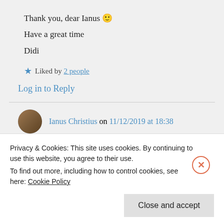Thank you, dear Ianus 🙂
Have a great time
Didi
★ Liked by 2 people
Log in to Reply
Ianus Christius on 11/12/2019 at 18:38
👍 0 👎 0 ℹ Rate This
Privacy & Cookies: This site uses cookies. By continuing to use this website, you agree to their use. To find out more, including how to control cookies, see here: Cookie Policy
Close and accept